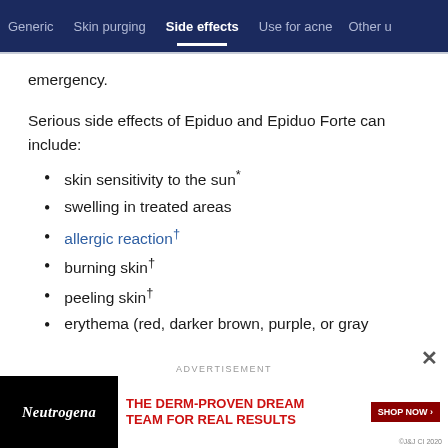Generic   Skin purging   Side effects   Use for acne   Other u
emergency.
Serious side effects of Epiduo and Epiduo Forte can include:
skin sensitivity to the sun*
swelling in treated areas
allergic reaction†
burning skin†
peeling skin†
erythema (red, darker brown, purple, or gray …†
[Figure (screenshot): Neutrogena advertisement banner: 'THE DERM-PROVEN DREAM TEAM FOR REAL RESULTS' with SHOP NOW button and product images. ©J&J CI 2020]